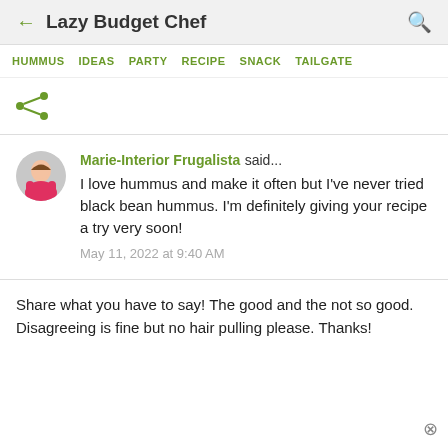Lazy Budget Chef
HUMMUS  IDEAS  PARTY  RECIPE  SNACK  TAILGATE
[Figure (illustration): Share icon (less-than symbol with dots)]
Marie-Interior Frugalista said... I love hummus and make it often but I've never tried black bean hummus. I'm definitely giving your recipe a try very soon!
May 11, 2022 at 9:40 AM
Share what you have to say! The good and the not so good. Disagreeing is fine but no hair pulling please. Thanks!